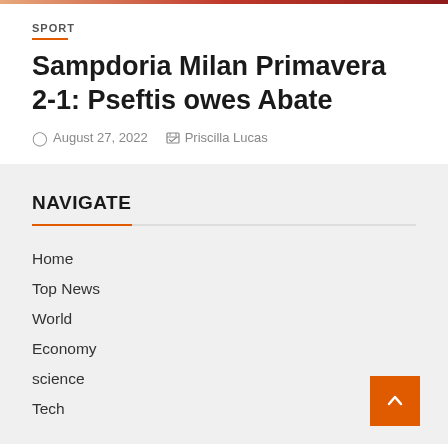SPORT
Sampdoria Milan Primavera 2-1: Pseftis owes Abate
August 27, 2022   Priscilla Lucas
NAVIGATE
Home
Top News
World
Economy
science
Tech